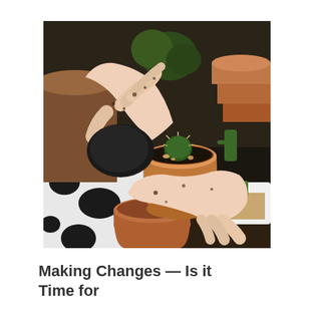[Figure (photo): Hands with soil/dirt on them holding a small terracotta pot containing a small cactus with dark soil. Other terracotta pots and cacti visible in the background on a patterned surface.]
Making Changes — Is it Time for